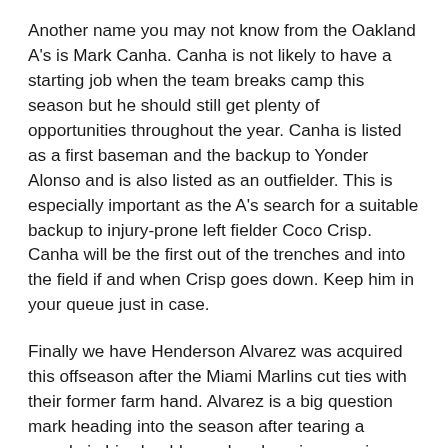Another name you may not know from the Oakland A's is Mark Canha. Canha is not likely to have a starting job when the team breaks camp this season but he should still get plenty of opportunities throughout the year. Canha is listed as a first baseman and the backup to Yonder Alonso and is also listed as an outfielder. This is especially important as the A's search for a suitable backup to injury-prone left fielder Coco Crisp. Canha will be the first out of the trenches and into the field if and when Crisp goes down. Keep him in your queue just in case.
Finally we have Henderson Alvarez was acquired this offseason after the Miami Marlins cut ties with their former farm hand. Alvarez is a big question mark heading into the season after tearing a muscle in his shoulder and undergoing a serious surgery on it. Alvarez will not be ready on Opening Day and may not be ready at all in 2016, although he is expected to be, but he is still a name that should be on your watch list. Alvarez was an All-Star for Miami in the last season he pitched in 2014 and the talent is there as long as his shoulder allows it to be.